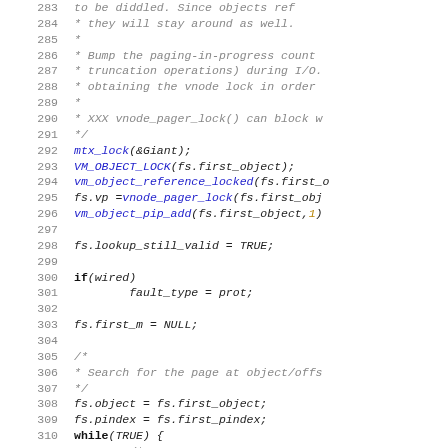[Figure (screenshot): Source code listing showing lines 283-312 of a C kernel file with line numbers on the left, comments in gray italic, keywords in blue italic, bold keywords, and numeric literals in yellow.]